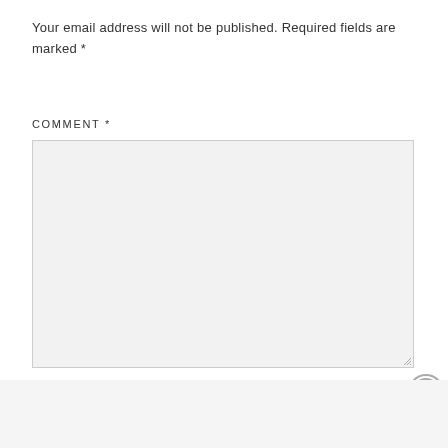Your email address will not be published. Required fields are marked *
COMMENT *
[Figure (screenshot): Empty comment text area input box with light gray background and resize handle]
[Figure (screenshot): Close/dismiss button (X in circle)]
Advertisements
[Figure (other): Pocket Casts advertisement banner: 'An app by listeners, for listeners.' with phone graphic and Pocket Casts logo on red background]